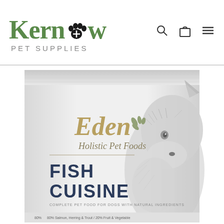[Figure (logo): Kernow Pet Supplies logo with green text and paw print icon]
[Figure (photo): Eden Holistic Pet Foods - Fish Cuisine dog food bag with wolf image]